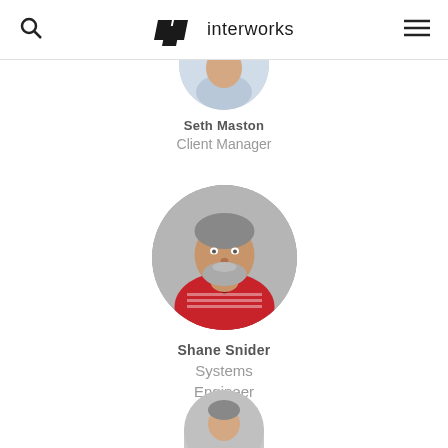interworks (navigation header with search and menu icons)
[Figure (photo): Circular profile photo of Seth Maston, partially cropped at top, wearing a light blue shirt against a white background]
Seth Maston
Client Manager
[Figure (photo): Circular profile photo of Shane Snider, a man with gray beard wearing a red and white striped polo shirt against a gray background]
Shane Snider
Systems Engineer
[Figure (photo): Partially visible circular profile photo at the bottom of the page]